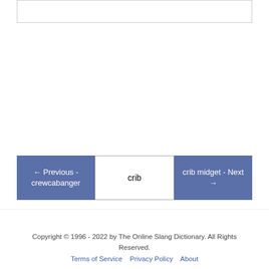[Figure (other): Partial bordered box at top of page, content cropped]
← Previous - crewcabanger
crib
crib midget - Next →
Copyright © 1996 - 2022 by The Online Slang Dictionary. All Rights Reserved.   Terms of Service   Privacy Policy   About